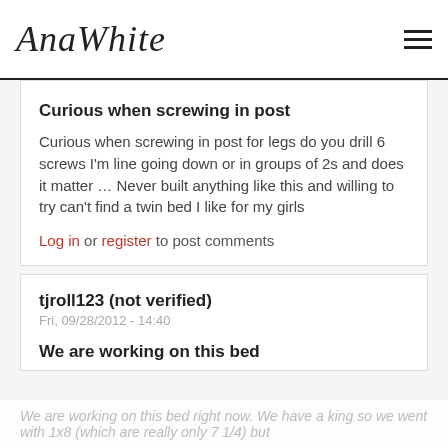AnaWhite
Curious when screwing in post
Curious when screwing in post for legs do you drill 6 screws I'm line going down or in groups of 2s and does it matter … Never built anything like this and willing to try can't find a twin bed I like for my girls
Log in or register to post comments
tjroll123 (not verified)
Fri, 09/28/2012 - 14:40
We are working on this bed
We are working on this bed right now. We have a king so we went with 1x8 (which are really only 7 1/4) but